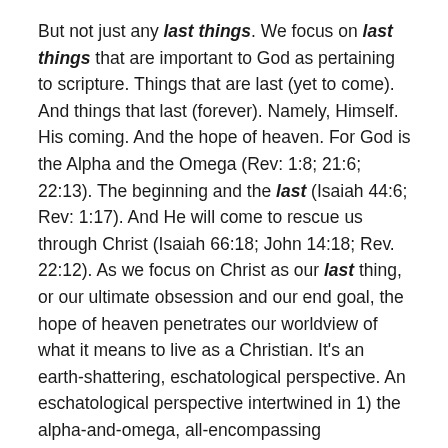But not just any last things. We focus on last things that are important to God as pertaining to scripture. Things that are last (yet to come). And things that last (forever). Namely, Himself. His coming. And the hope of heaven. For God is the Alpha and the Omega (Rev: 1:8; 21:6; 22:13). The beginning and the last (Isaiah 44:6; Rev: 1:17). And He will come to rescue us through Christ (Isaiah 66:18; John 14:18; Rev. 22:12). As we focus on Christ as our last thing, or our ultimate obsession and our end goal, the hope of heaven penetrates our worldview of what it means to live as a Christian. It’s an earth-shattering, eschatological perspective. An eschatological perspective intertwined in 1) the alpha-and-omega, all-encompassing characteristic of God, 2) the return of Christ, and 3) the hope of heaven, where we have eternal communion with our God.
It’s all about God and always will be. For “God is the best